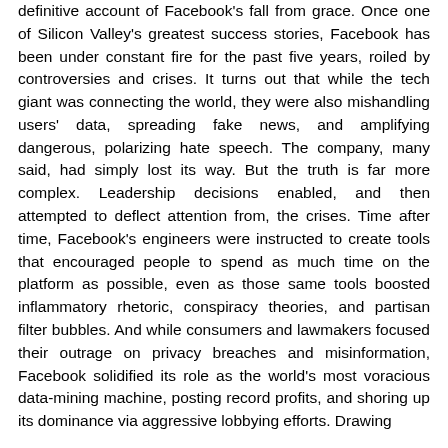definitive account of Facebook's fall from grace. Once one of Silicon Valley's greatest success stories, Facebook has been under constant fire for the past five years, roiled by controversies and crises. It turns out that while the tech giant was connecting the world, they were also mishandling users' data, spreading fake news, and amplifying dangerous, polarizing hate speech. The company, many said, had simply lost its way. But the truth is far more complex. Leadership decisions enabled, and then attempted to deflect attention from, the crises. Time after time, Facebook's engineers were instructed to create tools that encouraged people to spend as much time on the platform as possible, even as those same tools boosted inflammatory rhetoric, conspiracy theories, and partisan filter bubbles. And while consumers and lawmakers focused their outrage on privacy breaches and misinformation, Facebook solidified its role as the world's most voracious data-mining machine, posting record profits, and shoring up its dominance via aggressive lobbying efforts. Drawing